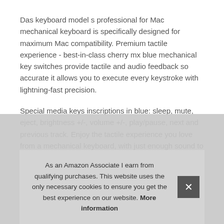Das keyboard model s professional for Mac mechanical keyboard is specifically designed for maximum Mac compatibility. Premium tactile experience - best-in-class cherry mx blue mechanical key switches provide tactile and audio feedback so accurate it allows you to execute every keystroke with lightning-fast precision.
Special media keys inscriptions in blue: sleep, mute, eject, brightness +/-, volume +/-, play/pause, next and previous track. Enjoy the tactile experience you love from a mechanical keyboard, with just enough sound to satisfy you - and not annoy your coworkers! Up to 50 million keystrokes - laser-etch... MX... pro... givin... keys... the lifespan of the switch. Great for fast typists and gamers
As an Amazon Associate I earn from qualifying purchases. This website uses the only necessary cookies to ensure you get the best experience on our website. More information